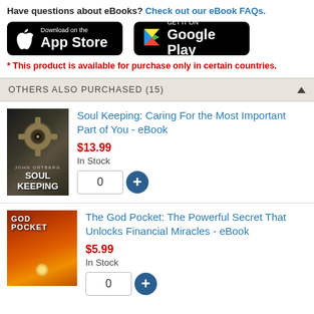Have questions about eBooks? Check out our eBook FAQs.
[Figure (logo): Download on the App Store button]
[Figure (logo): Get it on Google Play button]
* This product is available for purchase only in certain countries.
OTHERS ALSO PURCHASED (15)
Soul Keeping: Caring For the Most Important Part of You - eBook
$13.99
In Stock
The God Pocket: The Powerful Secret That Unlocks Financial Miracles - eBook
$5.99
In Stock